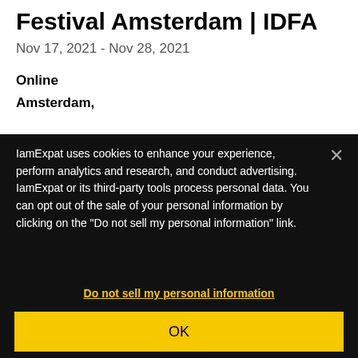Festival Amsterdam | IDFA
Nov 17, 2021 - Nov 28, 2021
Online
Amsterdam,
IamExpat uses cookies to enhance your experience, perform analytics and research, and conduct advertising. IamExpat or its third-party tools process personal data. You can opt out of the sale of your personal information by clicking on the "Do not sell my personal information" link.
Do not sell my personal information
OK